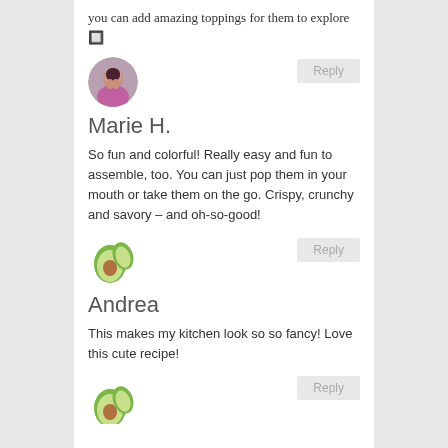you can add amazing toppings for them to explore 🔲
[Figure (photo): Circular avatar photo of Marie H., a woman with dark hair wearing a pink top]
Reply
Marie H.
So fun and colorful! Really easy and fun to assemble, too. You can just pop them in your mouth or take them on the go. Crispy, crunchy and savory – and oh-so-good!
[Figure (illustration): Avocado emoji/illustration showing a halved avocado with pit]
Reply
Andrea
This makes my kitchen look so so fancy! Love this cute recipe!
[Figure (illustration): Avocado emoji/illustration showing a halved avocado with pit, partially visible at bottom]
Reply